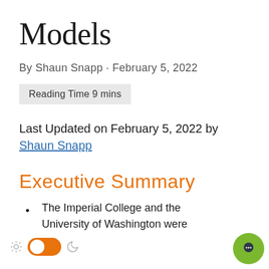Models
By Shaun Snapp · February 5, 2022
Reading Time 9 mins
Last Updated on February 5, 2022 by Shaun Snapp
Executive Summary
The Imperial College and the University of Washington were